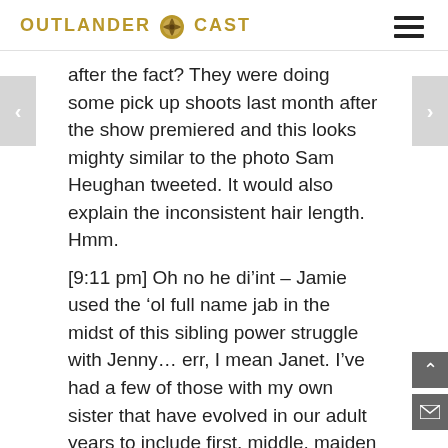OUTLANDER CAST
after the fact? They were doing some pick up shoots last month after the show premiered and this looks mighty similar to the photo Sam Heughan tweeted. It would also explain the inconsistent hair length. Hmm.
[9:11 pm] Oh no he di’int – Jamie used the ‘ol full name jab in the midst of this sibling power struggle with Jenny… err, I mean Janet. I’ve had a few of those with my own sister that have evolved in our adult years to include first, middle, maiden AND married names. By the time either one of mouths it out in its entirety, we can’t remember what our beef was to start with. Ahh,